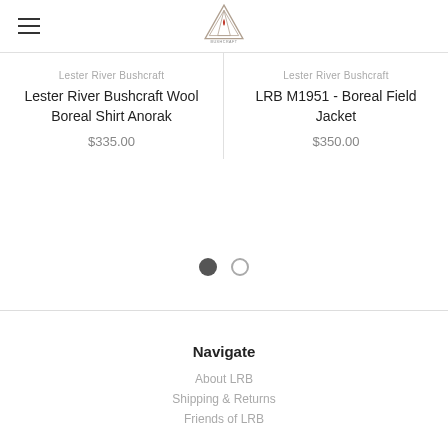[Figure (logo): Lester River Bushcraft logo — triangular camp/fire emblem with text below]
Lester River Bushcraft
Lester River Bushcraft Wool Boreal Shirt Anorak
$335.00
Lester River Bushcraft
LRB M1951 - Boreal Field Jacket
$350.00
Navigate
About LRB
Shipping & Returns
Friends of LRB